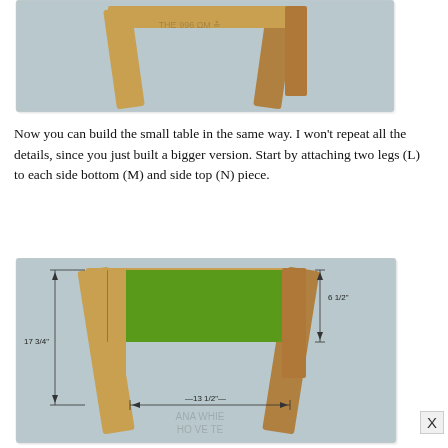[Figure (engineering-diagram): Technical woodworking diagram showing table frame assembly with angled legs viewed from front, on gray background. Dimensions partially visible at top.]
Now you can build the small table in the same way. I won't repeat all the details, since you just built a bigger version. Start by attaching two legs (L) to each side bottom (M) and side top (N) piece.
[Figure (engineering-diagram): Technical woodworking diagram showing table frame front view with angled legs and green highlighted top rail panel. Dimensions labeled: 6 1/2" (height of green panel), 17 3/4" (outer width), 13 1/2" (inner width between legs). Gray background. Watermark text faintly visible at bottom.]